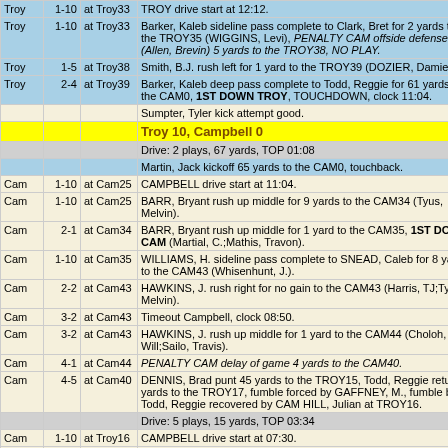| Team | Down | Spot | Description |
| --- | --- | --- | --- |
| Troy | 1-10 | at Troy33 | TROY drive start at 12:12. |
| Troy | 1-10 | at Troy33 | Barker, Kaleb sideline pass complete to Clark, Bret for 2 yards to the TROY35 (WIGGINS, Levi), PENALTY CAM offside defense (Allen, Brevin) 5 yards to the TROY38, NO PLAY. |
| Troy | 1-5 | at Troy38 | Smith, B.J. rush left for 1 yard to the TROY39 (DOZIER, Damien). |
| Troy | 2-4 | at Troy39 | Barker, Kaleb deep pass complete to Todd, Reggie for 61 yards to the CAM0, 1ST DOWN TROY, TOUCHDOWN, clock 11:04. |
|  |  |  | Sumpter, Tyler kick attempt good. |
|  |  |  | Troy 10, Campbell 0 |
|  |  |  | Drive: 2 plays, 67 yards, TOP 01:08 |
|  |  |  | Martin, Jack kickoff 65 yards to the CAM0, touchback. |
| Cam | 1-10 | at Cam25 | CAMPBELL drive start at 11:04. |
| Cam | 1-10 | at Cam25 | BARR, Bryant rush up middle for 9 yards to the CAM34 (Tyus, Melvin). |
| Cam | 2-1 | at Cam34 | BARR, Bryant rush up middle for 1 yard to the CAM35, 1ST DOWN CAM (Martial, C.;Mathis, Travon). |
| Cam | 1-10 | at Cam35 | WILLIAMS, H. sideline pass complete to SNEAD, Caleb for 8 yards to the CAM43 (Whisenhunt, J.). |
| Cam | 2-2 | at Cam43 | HAWKINS, J. rush right for no gain to the CAM43 (Harris, TJ;Tyus, Melvin). |
| Cam | 3-2 | at Cam43 | Timeout Campbell, clock 08:50. |
| Cam | 3-2 | at Cam43 | HAWKINS, J. rush up middle for 1 yard to the CAM44 (Choloh, Will;Sailo, Travis). |
| Cam | 4-1 | at Cam44 | PENALTY CAM delay of game 4 yards to the CAM40. |
| Cam | 4-5 | at Cam40 | DENNIS, Brad punt 45 yards to the TROY15, Todd, Reggie return 2 yards to the TROY17, fumble forced by GAFFNEY, M., fumble by Todd, Reggie recovered by CAM HILL, Julian at TROY16. |
|  |  |  | Drive: 5 plays, 15 yards, TOP 03:34 |
| Cam | 1-10 | at Troy16 | CAMPBELL drive start at 07:30. |
| Cam | 1-10 | at Troy16 | WILLIAMS, H. middle pass complete to SNEAD, Caleb for 16 yards to the TROY0, 1ST DOWN CAM, TOUCHDOWN, clock 07:23. |
|  |  |  | GARY, Colin kick attempt good. |
|  |  |  | Troy 10, Campbell 7 |
|  |  |  | Drive: 1 plays, 16 yards, TOP 00:07 |